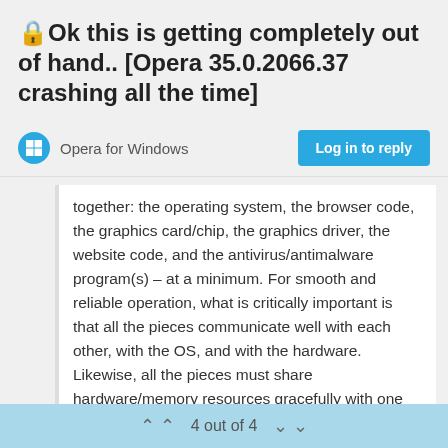🔒Ok this is getting completely out of hand.. [Opera 35.0.2066.37 crashing all the time]
Opera for Windows
together: the operating system, the browser code, the graphics card/chip, the graphics driver, the website code, and the antivirus/antimalware program(s) – at a minimum. For smooth and reliable operation, what is critically important is that all the pieces communicate well with each other, with the OS, and with the hardware. Likewise, all the pieces must share hardware/memory resources gracefully with one another. A variation in any one or several of these elements between different users can alter the user problem experience (if any), most often manifested by responses like "hmm, I don't have
4 out of 4